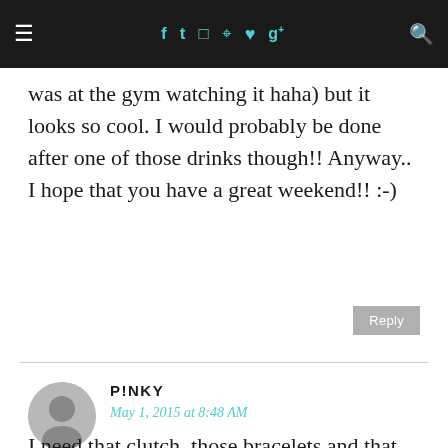≡  f  t  [instagram]  [pinterest]  [heart]  g+  [search]
was at the gym watching it haha) but it looks so cool. I would probably be done after one of those drinks though!! Anyway.. I hope that you have a great weekend!! :-)
Reply
P!NKY
May 1, 2015 at 8:48 AM
I need that clutch, those bracelets and that drink in my life. Might have to procure some to play with this weekend